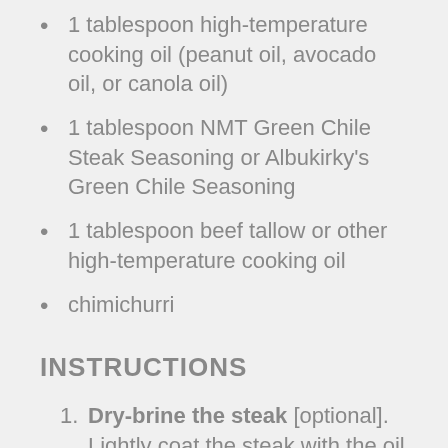1 tablespoon high-temperature cooking oil (peanut oil, avocado oil, or canola oil)
1 tablespoon NMT Green Chile Steak Seasoning or Albukirky's Green Chile Seasoning
1 tablespoon beef tallow or other high-temperature cooking oil
chimichurri
INSTRUCTIONS
Dry-brine the steak [optional]. Lightly coat the steak with the oil and season with about half of the green chile recipe. Place it on a rack, loosely cover in foil, and place it in the